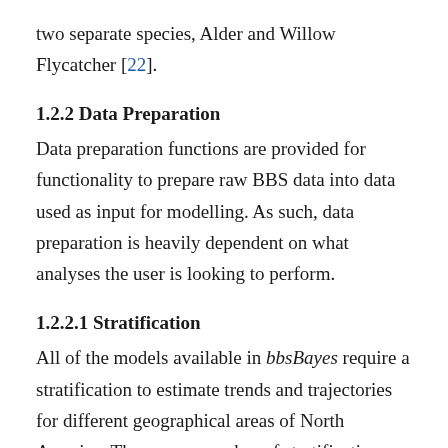two separate species, Alder and Willow Flycatcher [22].
1.2.2 Data Preparation
Data preparation functions are provided for functionality to prepare raw BBS data into data used as input for modelling. As such, data preparation is heavily dependent on what analyses the user is looking to perform.
1.2.2.1 Stratification
All of the models available in bbsBayes require a stratification to estimate trends and trajectories for different geographical areas of North America. There are a number of stratification options within the package, all of which are based on distinct geographic regions. The function stratify() is used to create an